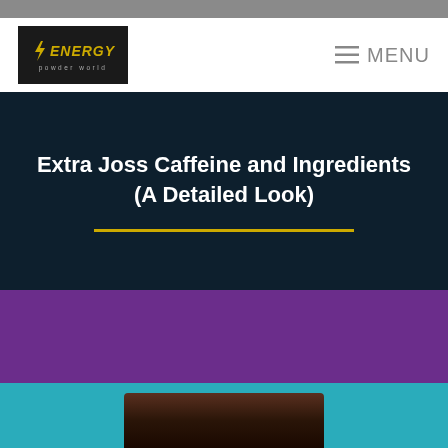ENERGY powder world — MENU
Extra Joss Caffeine and Ingredients (A Detailed Look)
[Figure (photo): Purple and teal colored background sections with a product image strip at the bottom representing Extra Joss energy drink products]